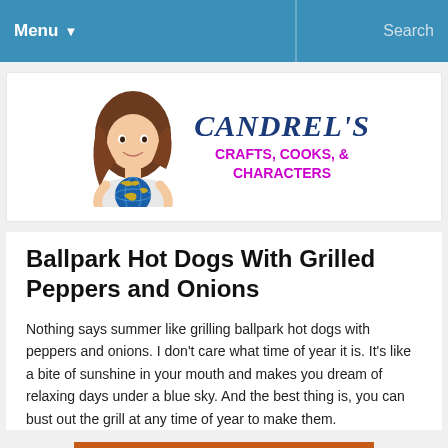Menu  Search
[Figure (logo): Candrel's Crafts, Cooks & Characters blog logo with illustrated woman holding a globe]
Ballpark Hot Dogs With Grilled Peppers and Onions
Nothing says summer like grilling ballpark hot dogs with peppers and onions. I don't care what time of year it is. It's like a bite of sunshine in your mouth and makes you dream of relaxing days under a blue sky. And the best thing is, you can bust out the grill at any time of year to make them.
[Figure (photo): Photo of a hot dog with grilled peppers and onions on an orange background, decorated with a small American flag]